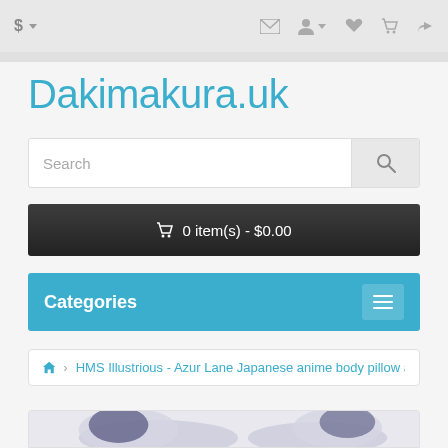$ ▾  [mail] [user] [heart] [cart] [share]
Dakimakura.uk
Search
🛒 0 item(s) - $0.00
Categories
🏠 > HMS Illustrious - Azur Lane Japanese anime body pillow anime hugging pi
[Figure (photo): Product image showing anime body pillow - partial view of pillow covers with blue and white color scheme]